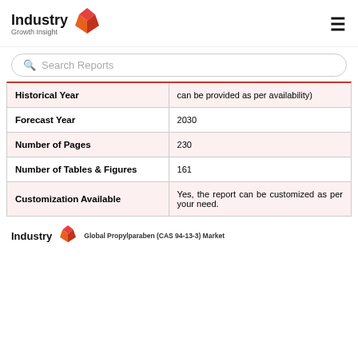[Figure (logo): Industry Growth Insight logo with red geometric box icon and bold text]
Search Reports
| Field | Value |
| --- | --- |
| Historical Year | can be provided as per availability) |
| Forecast Year | 2030 |
| Number of Pages | 230 |
| Number of Tables & Figures | 161 |
| Customization Available | Yes, the report can be customized as per your need. |
[Figure (logo): Industry Growth Insight footer logo with report title: Global Propylparaben (CAS 94-13-3) Market]